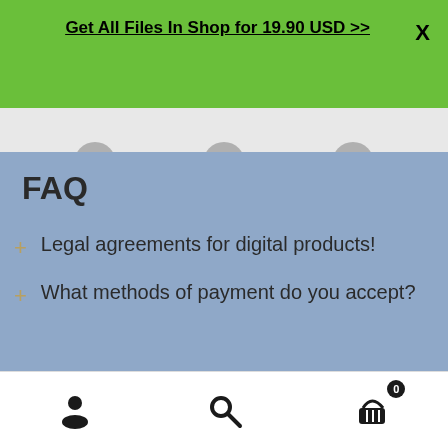Get All Files In Shop for 19.90 USD >>   X
FAQ
Legal agreements for digital products!
What methods of payment do you accept?
[user icon] [search icon] [cart icon with 0]